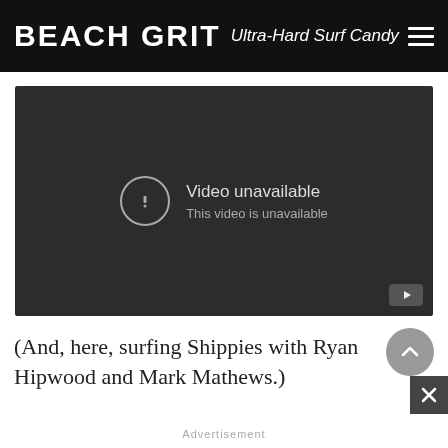BEACH GRIT Ultra-Hard Surf Candy
[Figure (screenshot): Embedded video player showing 'Video unavailable - This video is unavailable' message on a dark background with a YouTube icon in the bottom right corner.]
(And, here, surfing Shippies with Ryan Hipwood and Mark Mathews.)
Advertisement